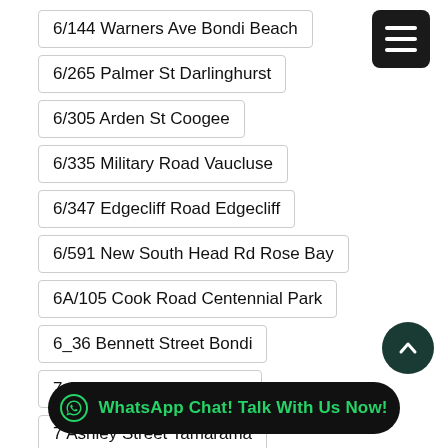6/144 Warners Ave Bondi Beach
6/265 Palmer St Darlinghurst
6/305 Arden St Coogee
6/335 Military Road Vaucluse
6/347 Edgecliff Road Edgecliff
6/591 New South Head Rd Rose Bay
6A/105 Cook Road Centennial Park
6_36 Bennett Street Bondi
7 Arthur Street Leichhardt
7 Ashley Street Tamarama
7 BRIDGE VIEW ROAD Beverly Hills
7…
7 Castlefield Street Bondi
7 Egret Cl Bella Vista
[Figure (screenshot): Hamburger menu icon (three horizontal white lines on black rounded square background), top right corner]
[Figure (screenshot): Scroll-to-top button: dark green circle with upward chevron arrow, bottom right]
[Figure (screenshot): WhatsApp Chat button bar at bottom: black pill shape with WhatsApp icon and green text 'WhatsApp Chat! Talk With Us Now!']